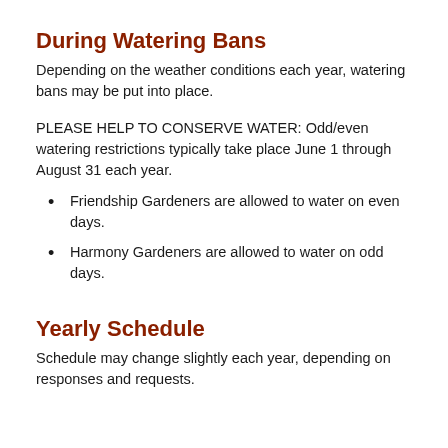During Watering Bans
Depending on the weather conditions each year, watering bans may be put into place.
PLEASE HELP TO CONSERVE WATER: Odd/even watering restrictions typically take place June 1 through August 31 each year.
Friendship Gardeners are allowed to water on even days.
Harmony Gardeners are allowed to water on odd days.
Yearly Schedule
Schedule may change slightly each year, depending on responses and requests.